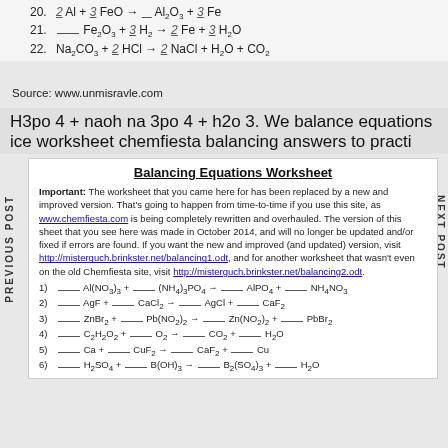20. __ Al + __ FeO → __ Al2O3 + __ Fe
21. __ Fe2O3 + 3 H2 → 2 Fe + 3 H2O
22. Na2CO3 + 2 HCl → 2 NaCl + H2O + CO2
Source: www.unmisravle.com
H3po 4 + naoh na 3po 4 + h2o 3. We balance equations ice worksheet chemfiesta balancing answers to practi
Balancing Equations Worksheet
Important: The worksheet that you came here for has been replaced by a new and improved version. That's going to happen from time-to-time if you use this site, as www.chemfiesta.com is being completely rewritten and overhauled. The version of this sheet that you see here was made in October 2014, and will no longer be updated and/or fixed if errors are found. If you want the new and improved (and updated) version, visit http://misterguch.brinkster.net/balancing1.odt, and for another worksheet that wasn't even on the old Chemfiesta site, visit http://misterguch.brinkster.net/balancing2.odt.
1) __ Al(NO3)3 + __ (NH4)3PO4 → __ AlPO4 + __ NH4NO3
2) __ AgF + __ CaCl2 → __ AgCl + __ CaF2
3) __ ZnBr2 + __ Pb(NO2)2 → __ Zn(NO2)2 + __ PbBr2
4) __ C2H2O2 + __ O2 → __ CO2 + __ H2O
5) __ Ca + __ CuF2 → __ CaF2 + __ Cu
6) __ H2SO4 + __ B(OH)3 → __ B2(SO4)3 + __ H2O